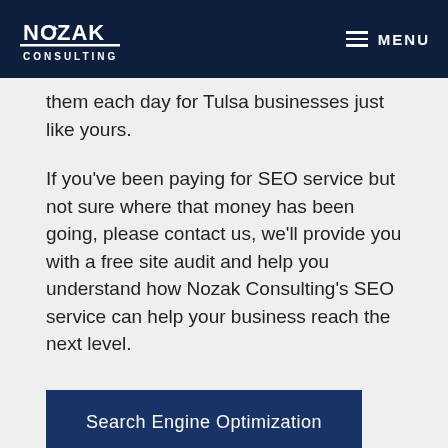Nozak Consulting — MENU
them each day for Tulsa businesses just like yours.
If you've been paying for SEO service but not sure where that money has been going, please contact us, we'll provide you with a free site audit and help you understand how Nozak Consulting's SEO service can help your business reach the next level.
Search Engine Optimization